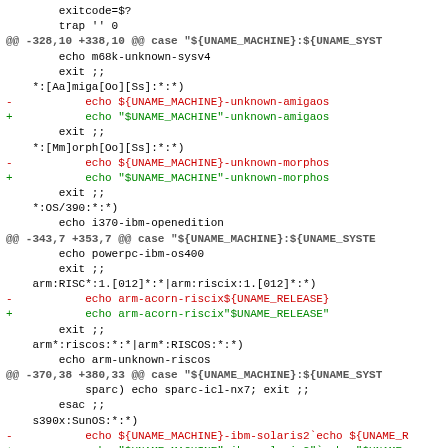exitcode=$?
    trap '' 0
@@ -328,10 +338,10 @@ case "${UNAME_MACHINE}:${UNAME_SYST
        echo m68k-unknown-sysv4
        exit ;;
    *:[Aa]miga[Oo][Ss]:*:*)
-           echo ${UNAME_MACHINE}-unknown-amigaos
+           echo "$UNAME_MACHINE"-unknown-amigaos
        exit ;;
    *:[Mm]orph[Oo][Ss]:*:*)
-           echo ${UNAME_MACHINE}-unknown-morphos
+           echo "$UNAME_MACHINE"-unknown-morphos
        exit ;;
    *:OS/390:*:*)
        echo i370-ibm-openedition
@@ -343,7 +353,7 @@ case "${UNAME_MACHINE}:${UNAME_SYSTE
        echo powerpc-ibm-os400
        exit ;;
    arm:RISC*:1.[012]*:*|arm:riscix:1.[012]*:*)
-           echo arm-acorn-riscix${UNAME_RELEASE}
+           echo arm-acorn-riscix"$UNAME_RELEASE"
        exit ;;
    arm*:riscos:*:*|arm*:RISCOS:*:*)
        echo arm-unknown-riscos
@@ -370,38 +380,33 @@ case "${UNAME_MACHINE}:${UNAME_SYST
            sparc) echo sparc-icl-nx7; exit ;;
        esac ;;
    s390x:SunOS:*:*)
-           echo ${UNAME_MACHINE}-ibm-solaris2`echo ${UNAME_R
+           echo "$UNAME_MACHINE"-ibm-solaris2"`echo "$UNAME